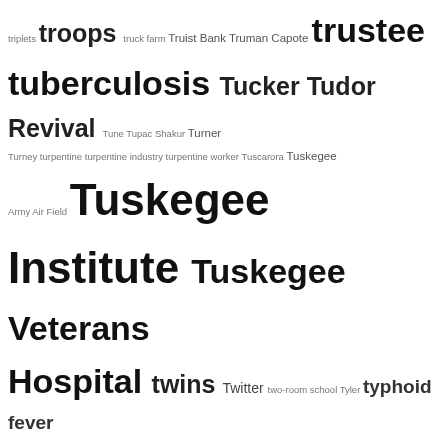triplets troops truck farm Truist Bank Truman Capote trustee tuberculosis Tucker Tudor Revival Tune Tupac Shakur Turner Turney turpentine turpentine industry turpentine worker Tuscarora Tuskegee Army Air Field Tuskegee Institute Tuskegee Veterans Hospital twins Twitter two-room school Tyler typhoid fever Tyson U.S. Army U.S. Navy uncle undertaker Underwood unemployment unemployment benefits union Union League union organizing United Church of Christ United Holy Church United Service Mission Assistance United States Army United States Colored Troops United States Congress United States Navy United States Postal Service United War Work Campaign Unites States Colored Troops Universal Negro Improvement Association university University of Michigan University of North Carolina at Chapel Hill up North uptown urban renewal usher board utility easement Utley vacation vaccination vaccine vagrancy valedictorian Valentine's Day Vance County NC Vance Street vandalism vaudeville Vaughn vegetables vehicular homicide Venters vernacular architecture vernacular art veteran Veterans